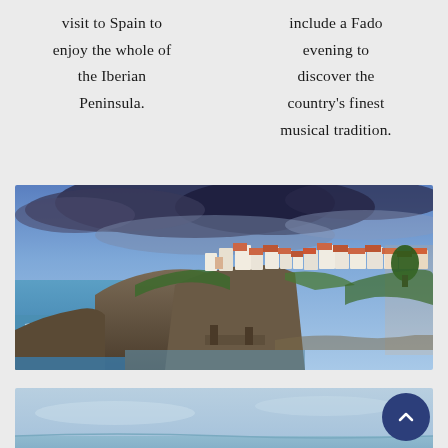visit to Spain to enjoy the whole of the Iberian Peninsula.
include a Fado evening to discover the country's finest musical tradition.
[Figure (photo): Panoramic photo of a coastal Mediterranean town built on rocky cliffs with white buildings and red rooftops, ocean waves below, dramatic blue cloudy sky above.]
[Figure (photo): Partial photo of a calm blue seascape or ocean horizon under a light blue sky.]